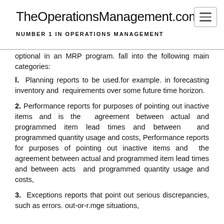TheOperationsManagement.com
NUMBER 1 IN OPERATIONS MANAGEMENT
optional in an MRP program. fall into the following main categories:
1.  Planning reports to be used.for example. in forecasting inventory and  requirements over some future time horizon.
2. Performance reports for purposes of pointing out inactive items and is the  agreement between actual and programmed item lead times and between  and programmed quantity usage and costs, Performance reports for purposes of pointing out inactive items and  the agreement between actual and programmed item lead times and between acts  and programmed quantity usage and costs,
3.  Exceptions reports that point out serious discrepancies, such as errors. out-or-r.mge situations,